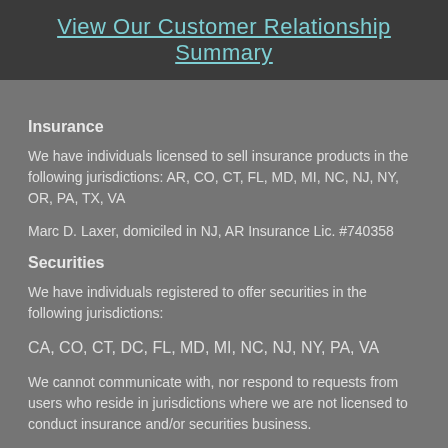View Our Customer Relationship Summary
Insurance
We have individuals licensed to sell insurance products in the following jurisdictions: AR, CO, CT, FL, MD, MI, NC, NJ, NY, OR, PA, TX, VA
Marc D. Laxer, domiciled in NJ, AR Insurance Lic. #740358
Securities
We have individuals registered to offer securities in the following jurisdictions:
CA, CO, CT, DC, FL, MD, MI, NC, NJ, NY, PA, VA
We cannot communicate with, nor respond to requests from users who reside in jurisdictions where we are not licensed to conduct insurance and/or securities business.
Securities, investment advisory and financial planning services are offered